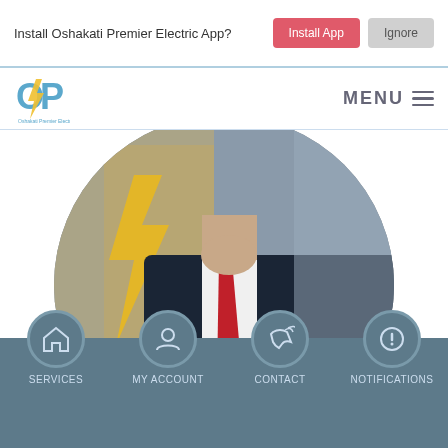Install Oshakati Premier Electric App?
Install App
Ignore
[Figure (logo): Oshakati Premier Electric logo with lightning bolt icon and text]
MENU ≡
[Figure (photo): Man in dark navy suit with white shirt and red tie, lightning bolt signage visible in background, cropped circular]
Mr. Leon Hamkom
SERVICES
MY ACCOUNT
CONTACT
NOTIFICATIONS